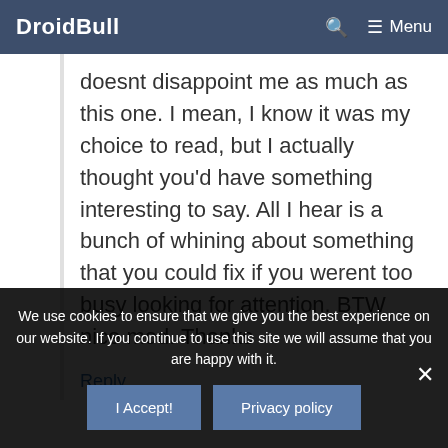DroidBull   🔍   ☰ Menu
doesnt disappoint me as much as this one. I mean, I know it was my choice to read, but I actually thought you'd have something interesting to say. All I hear is a bunch of whining about something that you could fix if you werent too busy looking for attention. BTW nice mod. Thanks
Reply
We use cookies to ensure that we give you the best experience on our website. If you continue to use this site we will assume that you are happy with it.
I Accept!   Privacy policy